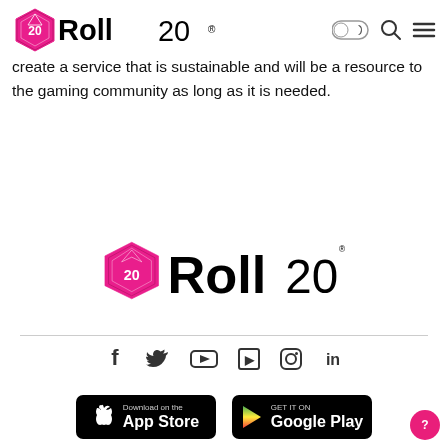[Figure (logo): Roll20 logo in header navigation bar with toggle, search, and hamburger menu icons]
create a service that is sustainable and will be a resource to the gaming community as long as it is needed.
[Figure (logo): Large Roll20 logo centered on page]
[Figure (infographic): Social media icons row: Facebook, Twitter, YouTube, Twitch, Instagram, LinkedIn]
[Figure (infographic): App store download badges: Download on the App Store and GET IT ON Google Play]